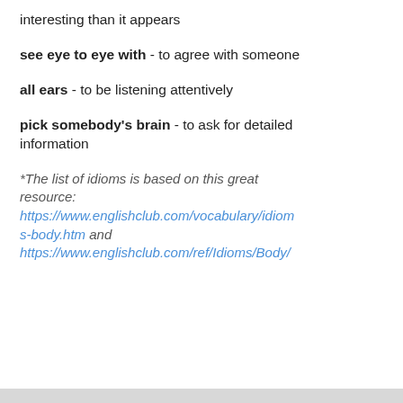interesting than it appears
see eye to eye with - to agree with someone
all ears - to be listening attentively
pick somebody's brain - to ask for detailed information
*The list of idioms is based on this great resource: https://www.englishclub.com/vocabulary/idioms-body.htm and https://www.englishclub.com/ref/Idioms/Body/